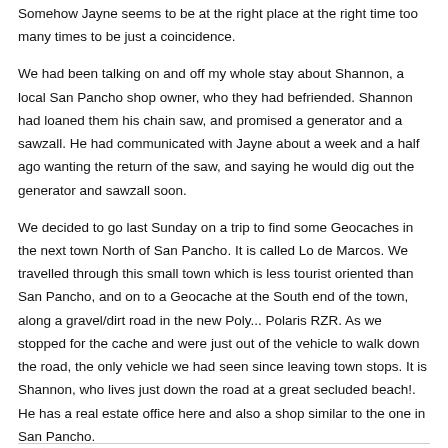Somehow Jayne seems to be at the right place at the right time too many times to be just a coincidence.
We had been talking on and off my whole stay about Shannon, a local San Pancho shop owner, who they had befriended. Shannon had loaned them his chain saw, and promised a generator and a sawzall. He had communicated with Jayne about a week and a half ago wanting the return of the saw, and saying he would dig out the generator and sawzall soon.
We decided to go last Sunday on a trip to find some Geocaches in the next town North of San Pancho. It is called Lo de Marcos. We travelled through this small town which is less tourist oriented than San Pancho, and on to a Geocache at the South end of the town, along a gravel/dirt road in the new Poly... Polaris RZR. As we stopped for the cache and were just out of the vehicle to walk down the road, the only vehicle we had seen since leaving town stops. It is Shannon, who lives just down the road at a great secluded beach!. He has a real estate office here and also a shop similar to the one in San Pancho.